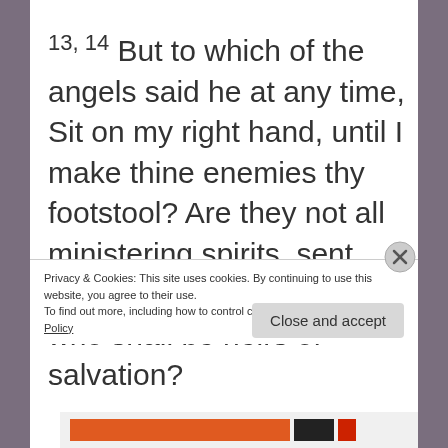13, 14 But to which of the angels said he at any time, Sit on my right hand, until I make thine enemies thy footstool? Are they not all ministering spirits, sent forth to minister for them who shall be heirs of salvation?
Privacy & Cookies: This site uses cookies. By continuing to use this website, you agree to their use.
To find out more, including how to control cookies, see here: Cookie Policy
Close and accept